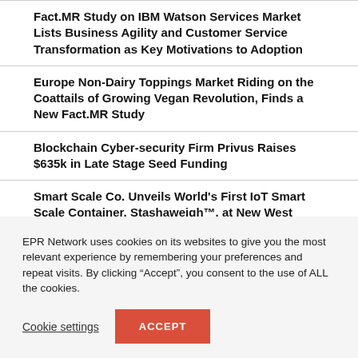Fact.MR Study on IBM Watson Services Market Lists Business Agility and Customer Service Transformation as Key Motivations to Adoption
Europe Non-Dairy Toppings Market Riding on the Coattails of Growing Vegan Revolution, Finds a New Fact.MR Study
Blockchain Cyber-security Firm Privus Raises $635k in Late Stage Seed Funding
Smart Scale Co. Unveils World's First IoT Smart Scale Container, Stashaweigh™, at New West Summit
EPR Network uses cookies on its websites to give you the most relevant experience by remembering your preferences and repeat visits. By clicking “Accept”, you consent to the use of ALL the cookies.
Cookie settings
ACCEPT